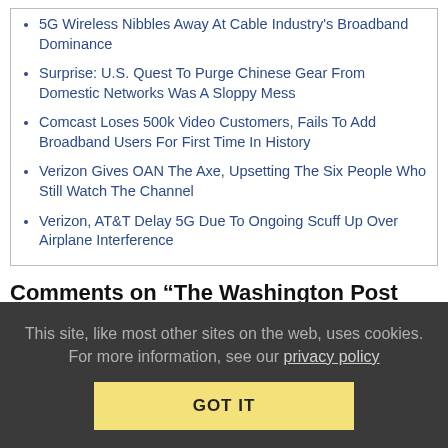5G Wireless Nibbles Away At Cable Industry's Broadband Dominance
Surprise: U.S. Quest To Purge Chinese Gear From Domestic Networks Was A Sloppy Mess
Comcast Loses 500k Video Customers, Fails To Add Broadband Users For First Time In History
Verizon Gives OAN The Axe, Upsetting The Six People Who Still Watch The Channel
Verizon, AT&T Delay 5G Due To Ongoing Scuff Up Over Airplane Interference
Comments on “The Washington Post And AT&T Team Up To Over-hype 5G”
This site, like most other sites on the web, uses cookies. For more information, see our privacy policy
GOT IT